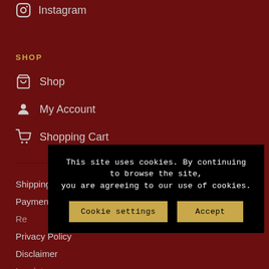Instagram
SHOP
Shop
My Account
Shopping Cart
Shipping & Delivery
Payment Methods
Privacy Policy
Disclaimer
Imprint
Terms & Conditions
This site uses cookies. By continuing to browse the site, you are agreeing to our use of cookies.